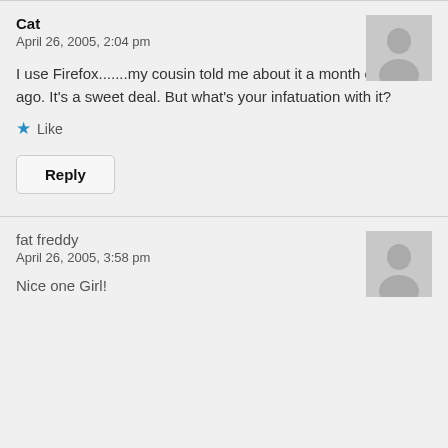Cat
April 26, 2005, 2:04 pm
I use Firefox.......my cousin told me about it a month or so ago. It's a sweet deal. But what's your infatuation with it?
★ Like
Reply
fat freddy
April 26, 2005, 3:58 pm
Nice one Girl!